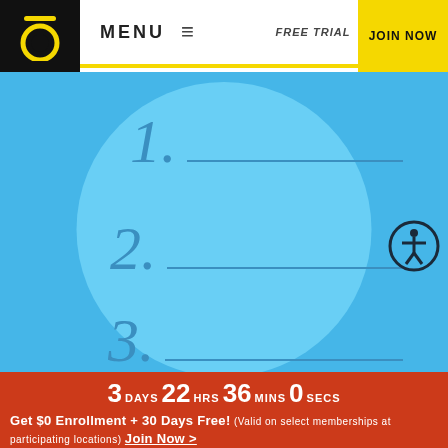[Figure (logo): Orangetheory Fitness logo - letter O with bar on top, white on black background]
MENU ≡
FREE TRIAL
JOIN NOW
[Figure (illustration): Light blue background with large lighter blue circle. Three numbered lines (1, 2, 3) in blue handwritten-style numerals with horizontal underlines. Accessibility icon (person in circle) in bottom right.]
3 DAYS 22 HRS 36 MINS 0 SECS
Get $0 Enrollment + 30 Days Free! (Valid on select memberships at participating locations) Join Now >